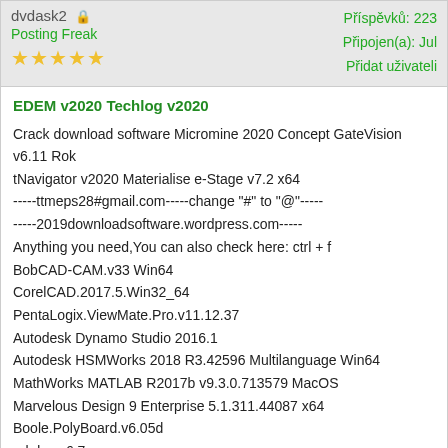dvdask2  Posting Freak  ★★★★★  Příspěvků: 223  Připojen(a): Jul  Přidat uživateli
EDEM v2020 Techlog v2020
Crack download software Micromine 2020 Concept GateVision v6.11 Rok tNavigator v2020 Materialise e-Stage v7.2 x64
-----ttmeps28#gmail.com-----change "#" to "@"-----
-----2019downloadsoftware.wordpress.com-----
Anything you need,You can also check here: ctrl + f
BobCAD-CAM.v33 Win64
CorelCAD.2017.5.Win32_64
PentaLogix.ViewMate.Pro.v11.12.37
Autodesk Dynamo Studio 2016.1
Autodesk HSMWorks 2018 R3.42596 Multilanguage Win64
MathWorks MATLAB R2017b v9.3.0.713579 MacOS
Marvelous Design 9 Enterprise 5.1.311.44087 x64
Boole.PolyBoard.v6.05d
rokdoc v6.7
CAMWorks.For.Solid.Edge.2017.SP2.Win64
Eos.Systems.Photomodeler.Scanner.2013.0.0.910.Win64
FTI.Forming.Suite.2017.2.0.16150.Win64
ATENA.Masonary.Quake.v3.8.14998
Synopsys VCS 2019.06 Linux64
Konekt.Electra.v6.42